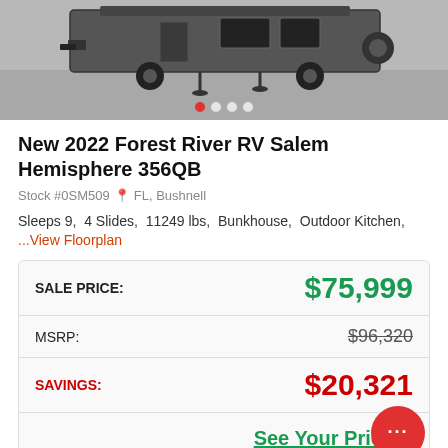[Figure (photo): Top portion of an RV trailer photographed from the front-left angle, shown on a gravel/concrete surface. Grayscale photo with carousel navigation dots below.]
New 2022 Forest River RV Salem Hemisphere 356QB
Stock #0SM509  FL, Bushnell
Sleeps 9,  4 Slides,  11249 lbs,  Bunkhouse,  Outdoor Kitchen,
...View Floorplan
| Label | Value |
| --- | --- |
| SALE PRICE: | $75,999 |
| MSRP: | $96,320 |
| SAVINGS: | $20,321 |
|  | See Your Price N... |